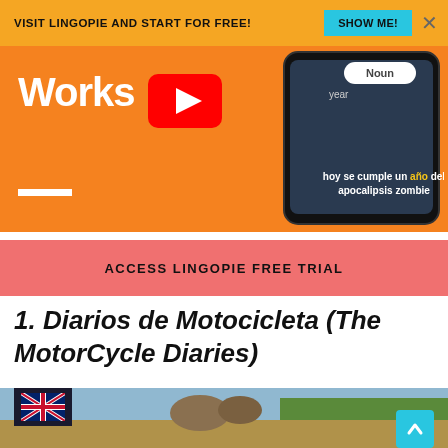[Figure (screenshot): Lingopie ad banner with orange background saying VISIT LINGOPIE AND START FOR FREE! with SHOW ME! cyan button]
[Figure (screenshot): Orange promotional image area with Works text, YouTube play button, phone mockup showing Spanish subtitle 'hoy se cumple un año del apocalipsis zombie' with Noun popup]
[Figure (infographic): ACCESS LINGOPIE FREE TRIAL button in salmon/coral color]
1. Diarios de Motocicleta (The MotorCycle Diaries)
[Figure (photo): Two men riding a motorcycle in a field, movie still from The Motorcycle Diaries. UK flag overlay in bottom left corner.]